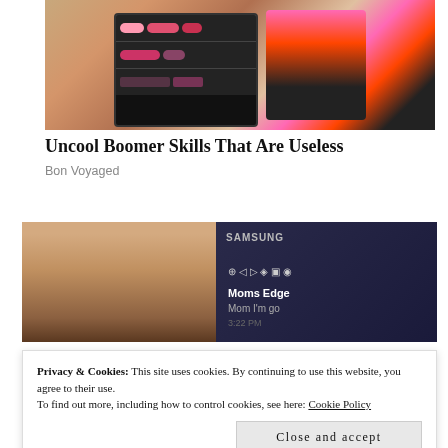[Figure (photo): Woman in pink athletic top opening a black multi-compartment makeup/toiletry organizer bag, wearing a watch]
Uncool Boomer Skills That Are Useless
Bon Voyaged
[Figure (photo): Left: close-up of a young woman with long brown hair. Right: Samsung smartphone screen showing a text message from 'Moms Edge' reading 'Mom I'm go...']
Privacy & Cookies: This site uses cookies. By continuing to use this website, you agree to their use.
To find out more, including how to control cookies, see here: Cookie Policy
Close and accept
[Figure (photo): Bottom strip showing partial images of people, partially obscured by cookie banner]